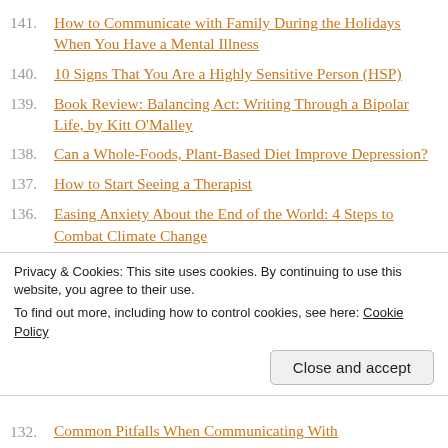141. How to Communicate with Family During the Holidays When You Have a Mental Illness
140. 10 Signs That You Are a Highly Sensitive Person (HSP)
139. Book Review: Balancing Act: Writing Through a Bipolar Life, by Kitt O'Malley
138. Can a Whole-Foods, Plant-Based Diet Improve Depression?
137. How to Start Seeing a Therapist
136. Easing Anxiety About the End of the World: 4 Steps to Combat Climate Change
135. How to Shield Your Children From the Effects of Your Bipolar Disorder
Privacy & Cookies: This site uses cookies. By continuing to use this website, you agree to their use.
To find out more, including how to control cookies, see here: Cookie Policy
132. Common Pitfalls When Communicating With